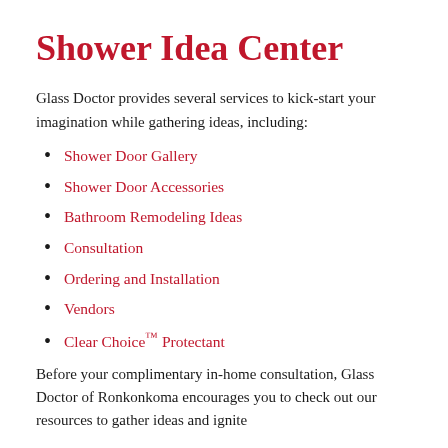Shower Idea Center
Glass Doctor provides several services to kick-start your imagination while gathering ideas, including:
Shower Door Gallery
Shower Door Accessories
Bathroom Remodeling Ideas
Consultation
Ordering and Installation
Vendors
Clear Choice™ Protectant
Before your complimentary in-home consultation, Glass Doctor of Ronkonkoma encourages you to check out our resources to gather ideas and ignite